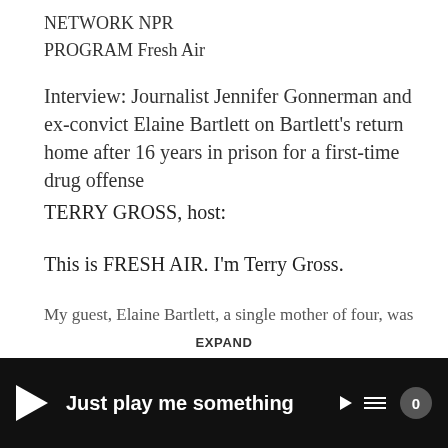NETWORK NPR
PROGRAM Fresh Air
Interview: Journalist Jennifer Gonnerman and ex-convict Elaine Bartlett on Bartlett’s return home after 16 years in prison for a first-time drug offense
TERRY GROSS, host:
This is FRESH AIR. I’m Terry Gross.
My guest, Elaine Bartlett, a single mother of four, was given the sentence of 20 years to life in 1983 for selling four ounces of
EXPAND
Just play me something